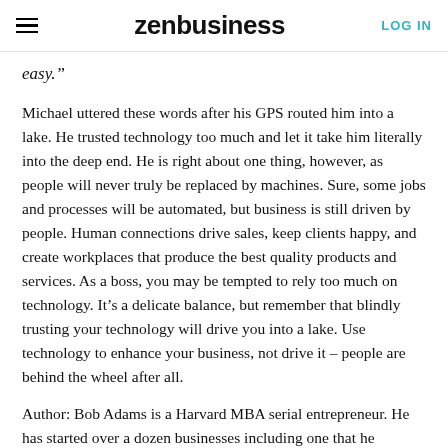zenbusiness   LOG IN
easy.”
Michael uttered these words after his GPS routed him into a lake. He trusted technology too much and let it take him literally into the deep end. He is right about one thing, however, as people will never truly be replaced by machines. Sure, some jobs and processes will be automated, but business is still driven by people. Human connections drive sales, keep clients happy, and create workplaces that produce the best quality products and services. As a boss, you may be tempted to rely too much on technology. It’s a delicate balance, but remember that blindly trusting your technology will drive you into a lake. Use technology to enhance your business, not drive it – people are behind the wheel after all.
Author: Bob Adams is a Harvard MBA serial entrepreneur. He has started over a dozen businesses including one that he launched with $1500 and sold for $40 million. He has written 17 books and created 52 online courses for